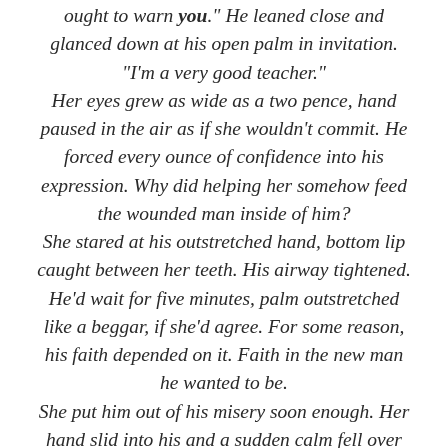ought to warn you." He leaned close and glanced down at his open palm in invitation. "I'm a very good teacher." Her eyes grew as wide as a two pence, hand paused in the air as if she wouldn't commit. He forced every ounce of confidence into his expression. Why did helping her somehow feed the wounded man inside of him? She stared at his outstretched hand, bottom lip caught between her teeth. His airway tightened. He'd wait for five minutes, palm outstretched like a beggar, if she'd agree. For some reason, his faith depended on it. Faith in the new man he wanted to be. She put him out of his misery soon enough. Her hand slid into his and a sudden calm fell over